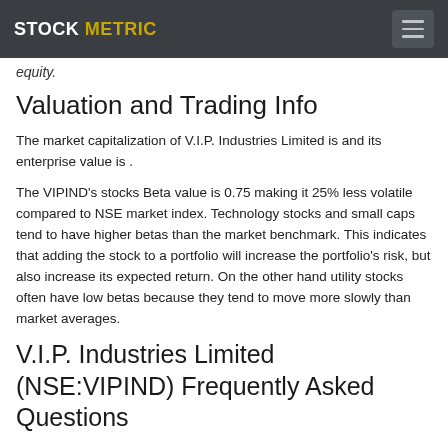STOCK METRIC
equity.
Valuation and Trading Info
The market capitalization of V.I.P. Industries Limited is and its enterprise value is .
The VIPIND's stocks Beta value is 0.75 making it 25% less volatile compared to NSE market index. Technology stocks and small caps tend to have higher betas than the market benchmark. This indicates that adding the stock to a portfolio will increase the portfolio's risk, but also increase its expected return. On the other hand utility stocks often have low betas because they tend to move more slowly than market averages.
V.I.P. Industries Limited (NSE:VIPIND) Frequently Asked Questions